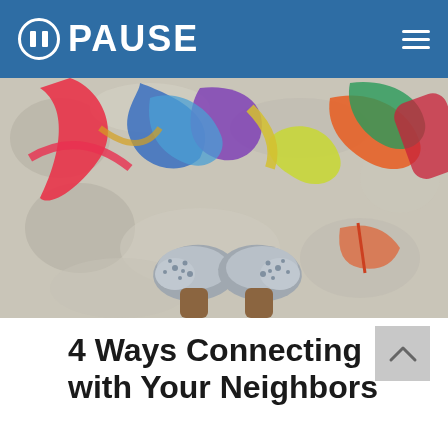PAUSE
[Figure (photo): Overhead view looking down at a person's feet wearing silver metallic loafer shoes, surrounded by colorful scattered flip-flops and sandals on a mottled concrete floor.]
4 Ways Connecting with Your Neighbors